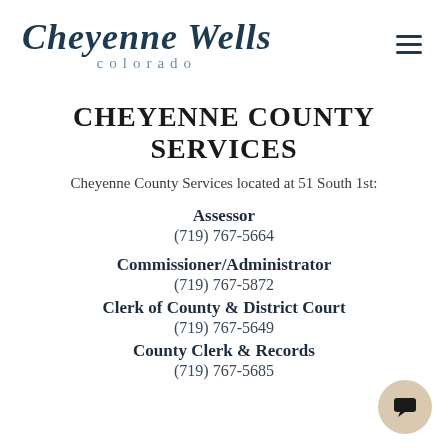Cheyenne Wells colorado
CHEYENNE COUNTY SERVICES
Cheyenne County Services located at 51 South 1st:
Assessor
(719) 767-5664
Commissioner/Administrator
(719) 767-5872
Clerk of County & District Court
(719) 767-5649
County Clerk & Records
(719) 767-5685